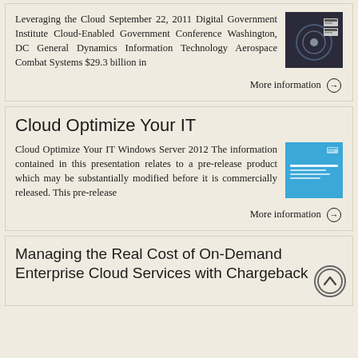Leveraging the Cloud September 22, 2011 Digital Government Institute Cloud-Enabled Government Conference Washington, DC General Dynamics Information Technology Aerospace Combat Systems $29.3 billion in
[Figure (screenshot): Dark blue presentation slide thumbnail]
More information →
Cloud Optimize Your IT
Cloud Optimize Your IT Windows Server 2012 The information contained in this presentation relates to a pre-release product which may be substantially modified before it is commercially released. This pre-release
[Figure (screenshot): Blue presentation slide thumbnail for Cloud Optimize Your IT Windows Server 2012]
More information →
Managing the Real Cost of On-Demand Enterprise Cloud Services with Chargeback